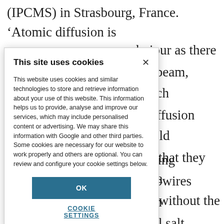(IPCMS) in Strasbourg, France. ‘Atomic diffusion is
nviour as there
the beam, which
o diffusion would
g is that they see a
and without the
orming nanowires
ns in
gical salt deposits
o improve
s in cloud
fundamental
ou have to
les in the
This site uses cookies
This website uses cookies and similar technologies to store and retrieve information about your use of this website. This information helps us to provide, analyse and improve our services, which may include personalised content or advertising. We may share this information with Google and other third parties. Some cookies are necessary for our website to work properly and others are optional. You can review and configure your cookie settings below.
OK
COOKIE SETTINGS